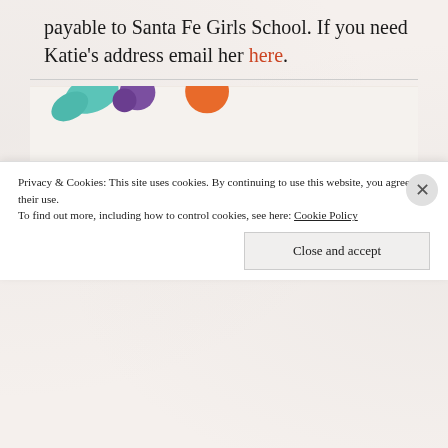payable to Santa Fe Girls School. If you need Katie's address email her here.
[Figure (photo): A photo of a printed quote card with colorful text reading: "Plenty of people MISS their share of HAPPINESS, not because they NEVER found it, but because they didn't STOP to enjoy it." with floral decorations at top.]
Privacy & Cookies: This site uses cookies. By continuing to use this website, you agree to their use.
To find out more, including how to control cookies, see here: Cookie Policy